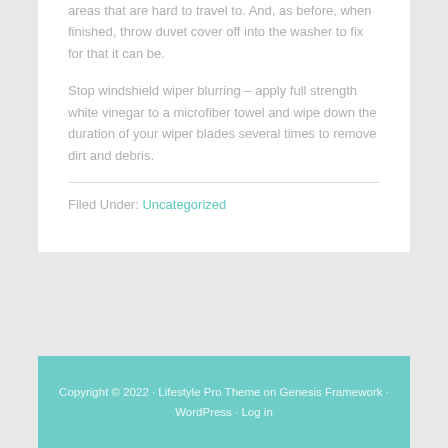areas that are hard to travel to. And, as before, when finished, throw duvet cover off into the washer to fix for that it can be.
Stop windshield wiper blurring – apply full strength white vinegar to a microfiber towel and wipe down the duration of your wiper blades several times to remove dirt and debris.
Filed Under: Uncategorized
Copyright © 2022 · Lifestyle Pro Theme on Genesis Framework · WordPress · Log in